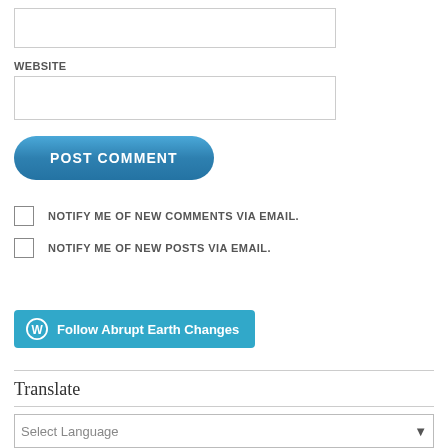[Figure (screenshot): Empty text input box at the top of the page]
WEBSITE
[Figure (screenshot): Empty website input box]
[Figure (screenshot): POST COMMENT button, blue rounded pill shape]
NOTIFY ME OF NEW COMMENTS VIA EMAIL.
NOTIFY ME OF NEW POSTS VIA EMAIL.
[Figure (screenshot): Follow Abrupt Earth Changes button with WordPress icon]
Translate
[Figure (screenshot): Select Language dropdown box]